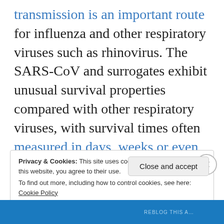transmission is an important route for influenza and other respiratory viruses such as rhinovirus. The SARS-CoV and surrogates exhibit unusual survival properties compared with other respiratory viruses, with survival times often measured in days, weeks or even months. Recent data suggests that MERS-CoV shares this property, surviving for >2 days when dried onto hard surfaces compared with only a few hours for influenza tested in the same study. Fortunately, these enveloped
Privacy & Cookies: This site uses cookies. By continuing to use this website, you agree to their use.
To find out more, including how to control cookies, see here: Cookie Policy
Close and accept